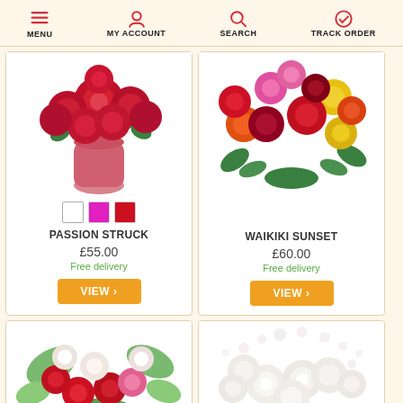MENU  MY ACCOUNT  SEARCH  TRACK ORDER
[Figure (photo): Red roses bouquet in a pink vase - Passion Struck product photo]
PASSION STRUCK
£55.00
Free delivery
[Figure (photo): Multicolored roses bouquet - Waikiki Sunset product photo]
WAIKIKI SUNSET
£60.00
Free delivery
[Figure (photo): Mixed red, pink, and white roses bouquet - bottom left product]
[Figure (photo): White roses with gypsophila bouquet - bottom right product]